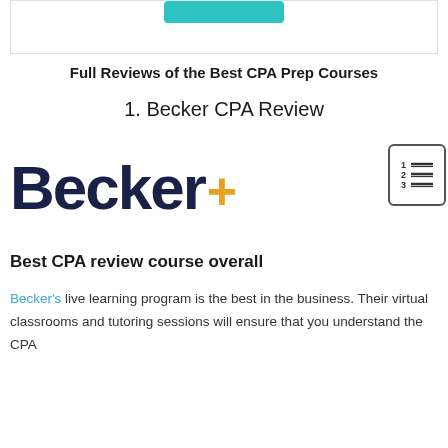[Figure (screenshot): Top of a webpage showing a teal button partially visible at the top, inside a bordered white box]
Full Reviews of the Best CPA Prep Courses
1. Becker CPA Review
[Figure (logo): Becker+ logo in dark navy with a gold/orange plus sign]
[Figure (other): Table of contents icon — a small bordered box with numbered lines]
Best CPA review course overall
Becker's live learning program is the best in the business. Their virtual classrooms and tutoring sessions will ensure that you understand the CPA